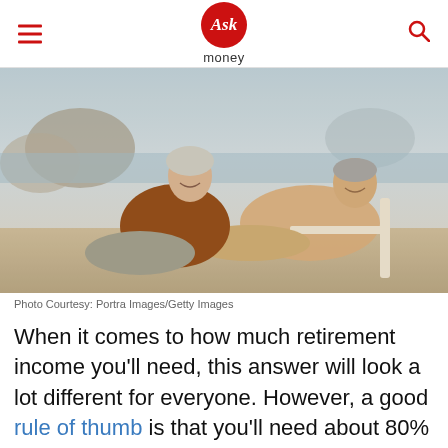Ask money
[Figure (photo): Elderly couple smiling and relaxing outdoors at a beach, the woman leaning forward happily, the man reclining in a chair.]
Photo Courtesy: Portra Images/Getty Images
When it comes to how much retirement income you'll need, this answer will look a lot different for everyone. However, a good rule of thumb is that you'll need about 80% of what you earn now during retirement. Some of this income may come from Social Security, while the rest will likely come